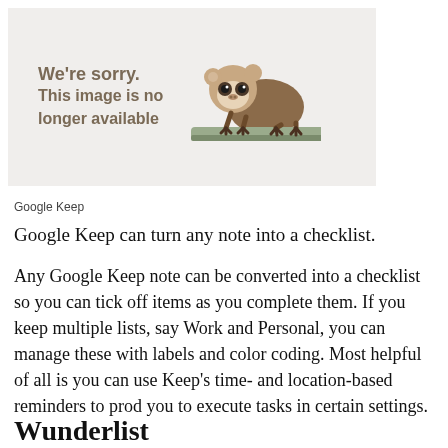[Figure (illustration): A placeholder image with a sloth illustration and text reading 'We're sorry. This image is no longer available' on a light beige/gray background.]
Google Keep
Google Keep can turn any note into a checklist.
Any Google Keep note can be converted into a checklist so you can tick off items as you complete them. If you keep multiple lists, say Work and Personal, you can manage these with labels and color coding. Most helpful of all is you can use Keep's time- and location-based reminders to prod you to execute tasks in certain settings.
Wunderlist